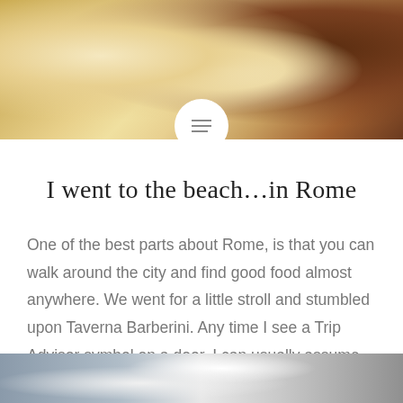[Figure (photo): Top food photo showing what appears to be ice cream or cheese and other food items with warm golden/brown tones]
I went to the beach…in Rome
One of the best parts about Rome, is that you can walk around the city and find good food almost anywhere. We went for a little stroll and stumbled upon Taverna Barberini. Any time I see a Trip Advisor symbol on a door, I can usually assume the food will be pretty decent. We ordered…
READ MORE
[Figure (photo): Bottom partial photo showing what appears to be an outdoor urban scene in Rome]